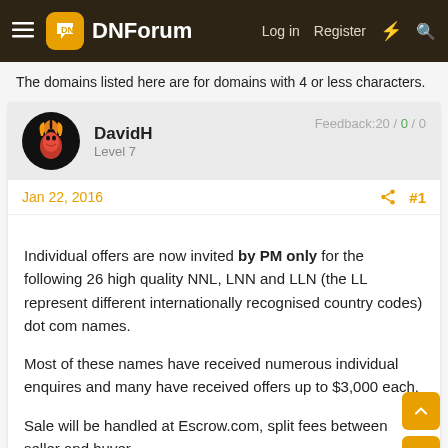DNForum — Log in  Register
The domains listed here are for domains with 4 or less characters.
DavidH
Level 7
Feedback:20 / 0 / 0
Jan 22, 2016  #1
Individual offers are now invited by PM only for the following 26 high quality NNL, LNN and LLN (the LL represent different internationally recognised country codes) dot com names.

Most of these names have received numerous individual enquires and many have received offers up to $3,000 each.

Sale will be handled at Escrow.com, split fees between seller and buyer.